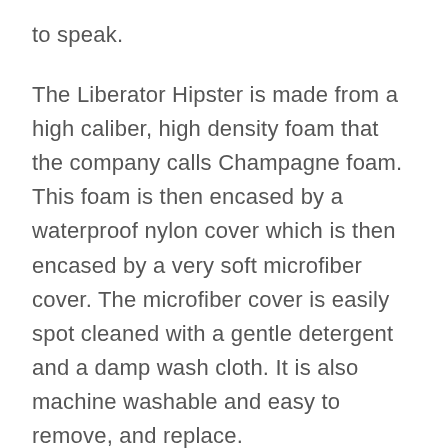to speak.
The Liberator Hipster is made from a high caliber, high density foam that the company calls Champagne foam. This foam is then encased by a waterproof nylon cover which is then encased by a very soft microfiber cover. The microfiber cover is easily spot cleaned with a gentle detergent and a damp wash cloth. It is also machine washable and easy to remove, and replace.
The cushion is 33” in length, 24” wide, and the top of the large roll rests about 10” high.